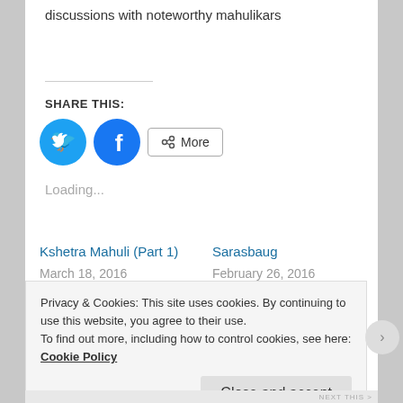discussions with noteworthy mahulikars
SHARE THIS:
[Figure (other): Social share buttons: Twitter (blue circle with bird icon), Facebook (blue circle with f icon), and a More button with share icon]
Loading...
Kshetra Mahuli (Part 1)
March 18, 2016
Sarasbaug
February 26, 2016
Privacy & Cookies: This site uses cookies. By continuing to use this website, you agree to their use.
To find out more, including how to control cookies, see here: Cookie Policy
Close and accept